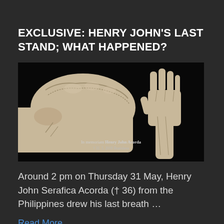EXCLUSIVE: HENRY JOHN'S LAST STAND; WHAT HAPPENED?
[Figure (illustration): Illustration on black background showing a large fist on the left and a raised open hand (stop gesture) on the right, with text at the bottom reading 'In memoriam Henry John Acorda † 31. 5. 2018 Bratislava']
Around 2 pm on Thursday 31 May, Henry John Serafica Acorda († 36) from the Philippines drew his last breath …
Read More
NEW EVIDENCE IN CASE OF MISSING